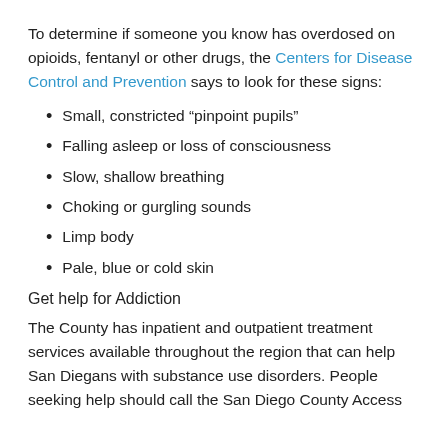To determine if someone you know has overdosed on opioids, fentanyl or other drugs, the Centers for Disease Control and Prevention says to look for these signs:
Small, constricted “pinpoint pupils”
Falling asleep or loss of consciousness
Slow, shallow breathing
Choking or gurgling sounds
Limp body
Pale, blue or cold skin
Get help for Addiction
The County has inpatient and outpatient treatment services available throughout the region that can help San Diegans with substance use disorders. People seeking help should call the San Diego County Access